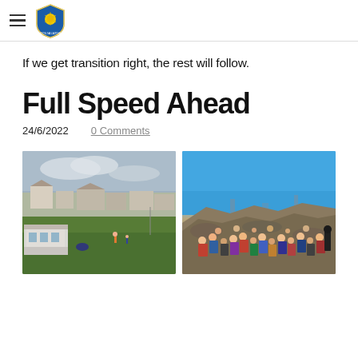[hamburger menu icon] [school crest/shield logo]
If we get transition right, the rest will follow.
Full Speed Ahead
24/6/2022   0 Comments
[Figure (photo): A sports/golf field with a clubhouse or school building in the background, green grass, overcast sky]
[Figure (photo): A large group of people sitting on a rocky hillside under a bright blue sky]